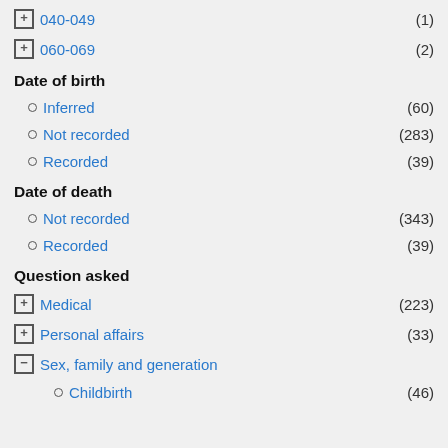⊞ 040-049 (1)
⊞ 060-069 (2)
Date of birth
○ Inferred (60)
○ Not recorded (283)
○ Recorded (39)
Date of death
○ Not recorded (343)
○ Recorded (39)
Question asked
⊞ Medical (223)
⊞ Personal affairs (33)
⊟ Sex, family and generation
○ Childbirth (46)